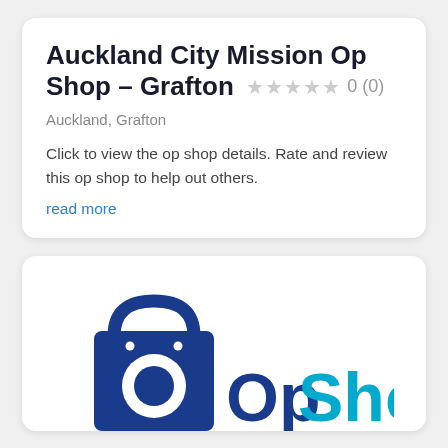Auckland City Mission Op Shop – Grafton ★★★★★ 0 (0)
Auckland, Grafton
Click to view the op shop details. Rate and review this op shop to help out others.
read more
[Figure (logo): Op Shop directory logo: dark blue shopping bag icon with white circular window, next to teal/cyan 'Op Shop' text, partially cropped at bottom of page]